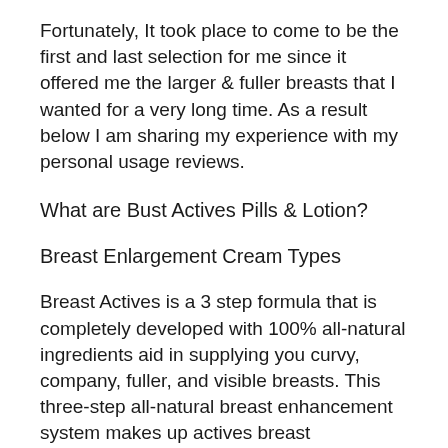Fortunately, It took place to come to be the first and last selection for me since it offered me the larger & fuller breasts that I wanted for a very long time. As a result below I am sharing my experience with my personal usage reviews.
What are Bust Actives Pills & Lotion?
Breast Enlargement Cream Types
Breast Actives is a 3 step formula that is completely developed with 100% all-natural ingredients aid in supplying you curvy, company, fuller, and visible breasts. This three-step all-natural breast enhancement system makes up actives breast...